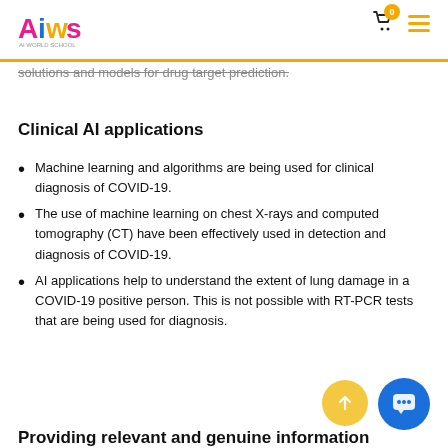AIWS AI World School
solutions and models for drug target prediction.
Clinical AI applications
Machine learning and algorithms are being used for clinical diagnosis of COVID-19.
The use of machine learning on chest X-rays and computed tomography (CT) have been effectively used in detection and diagnosis of COVID-19.
AI applications help to understand the extent of lung damage in a COVID-19 positive person. This is not possible with RT-PCR tests that are being used for diagnosis.
Providing relevant and genuine information